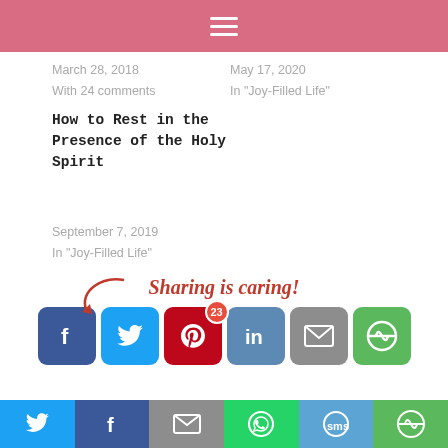≡ (hamburger menu)
March 28, 2018
With 24 comments
May 17, 2020
In "Joy-Filled Life"
How to Rest in the Presence of the Holy Spirit
September 7, 2019
In "Joy-Filled Life"
[Figure (infographic): Sharing is caring! text with arrow and social share buttons: Facebook, Twitter, Pinterest (23 saves), LinkedIn, Email, More]
You may also like:
[Figure (photo): Thumbnail images of related articles: left shows '5 WAYS TO' text on light background, right shows dark image]
Bottom share bar with Twitter, Facebook, Email, WhatsApp, SMS, More buttons